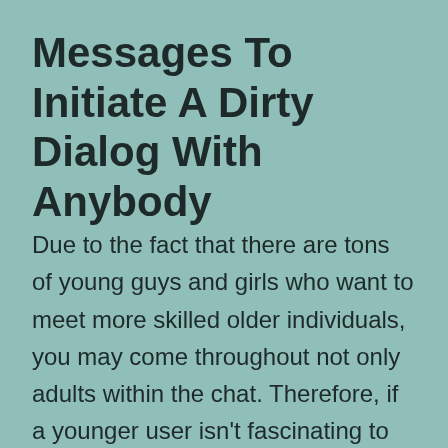Messages To Initiate A Dirty Dialog With Anybody
Due to the fact that there are tons of young guys and girls who want to meet more skilled older individuals, you may come throughout not only adults within the chat. Therefore, if a younger user isn’t fascinating to you, be happy to maneuver on to discovering new strangers of a more mature age. If you like using chatlines, make certain you examine our list of the highest video chat sites the place you probably can meet and discuss with different